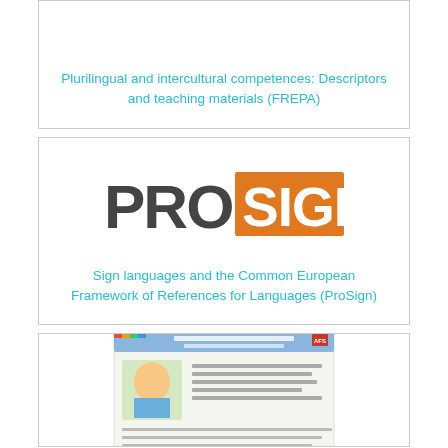Plurilingual and intercultural competences: Descriptors and teaching materials (FREPA)
[Figure (logo): ProSign logo: PRO in dark grey bold sans-serif, SIGN in white bold text on orange rectangle background]
Sign languages and the Common European Framework of References for Languages (ProSign)
[Figure (photo): Partial image of a document/brochure with children studying, shown at bottom of page, partially cropped]